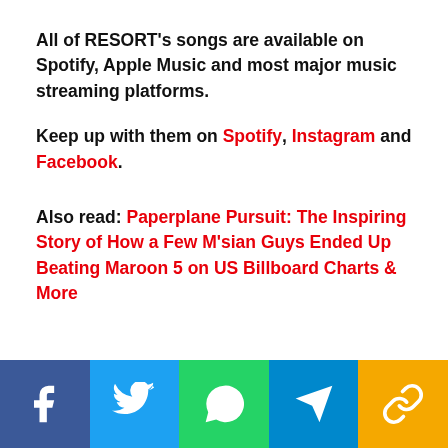All of RESORT's songs are available on Spotify, Apple Music and most major music streaming platforms.
Keep up with them on Spotify, Instagram and Facebook.
Also read: Paperplane Pursuit: The Inspiring Story of How a Few M'sian Guys Ended Up Beating Maroon 5 on US Billboard Charts & More
[Figure (infographic): Social media share bar with Facebook, Twitter, WhatsApp, Telegram, and link icons on colored backgrounds]